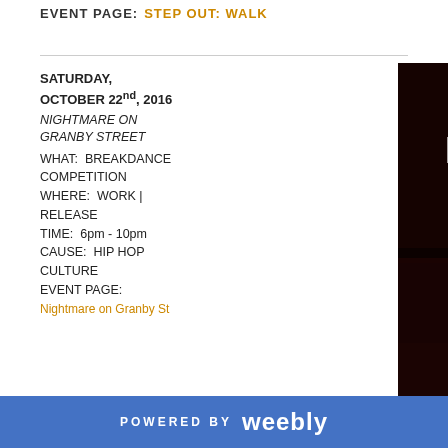EVENT PAGE:  STEP OUT: WALK
SATURDAY, OCTOBER 22nd, 2016
NIGHTMARE ON GRANBY STREET
WHAT:  BREAKDANCE COMPETITION
WHERE:  WORK | RELEASE
TIME:  6pm - 10pm
CAUSE:  HIP HOP CULTURE
EVENT PAGE:
Nightmare on Granby St
[Figure (photo): Event flyer for 'Nightmare on Granby Street' Breakdance Competition at Work | Release on October 22nd, 2016, 6pm-10pm, $5 Admission. Format: 1 vs 1, BBoy Prize: $100, Best Costume: $50. Sounds: DJ Wzdom & Limbo Slice (F)Emcee: Tiffa G. Judges: All Caps (UZN | Funklordz | N.W.A.), Bobby (Wreck the Floor Clan), Jasic ($$$Merc)]
POWERED BY  weebly